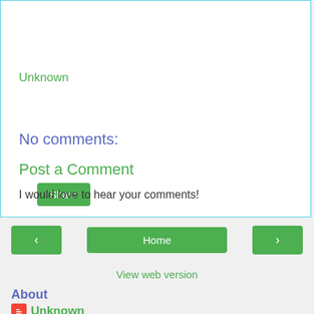Unknown
Share
No comments:
Post a Comment
I would love to hear your comments!
< Home >
View web version
About
Unknown